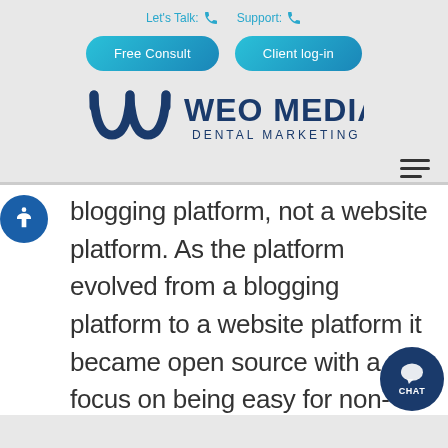Let's Talk: [phone icon]   Support: [phone icon]
[Figure (other): Free Consult button and Client log-in button (teal rounded rectangle buttons)]
[Figure (logo): WEO Media Dental Marketing logo with stylized W and M letters in dark blue]
[Figure (other): Hamburger menu icon (three horizontal lines)]
blogging platform, not a website platform. As the platform evolved from a blogging platform to a website platform it became open source with a focus on being easy for non-technical people to use. While this is nice for developing a basic website, it is severely lacking in areas like security from hackers, SEO